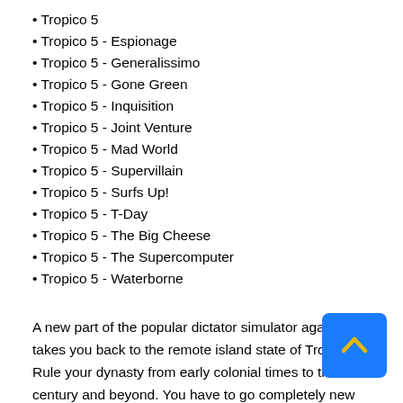• Tropico 5
• Tropico 5 - Espionage
• Tropico 5 - Generalissimo
• Tropico 5 - Gone Green
• Tropico 5 - Inquisition
• Tropico 5 - Joint Venture
• Tropico 5 - Mad World
• Tropico 5 - Supervillain
• Tropico 5 - Surfs Up!
• Tropico 5 - T-Day
• Tropico 5 - The Big Cheese
• Tropico 5 - The Supercomputer
• Tropico 5 - Waterborne
A new part of the popular dictator simulator again takes you back to the remote island state of Tropico! Rule your dynasty from early colonial times to the 21st century and beyond. You have to go completely new tests, learn new ways of trading and research and discover new technologies. And also, for the first time in the history of the Tropico series - the